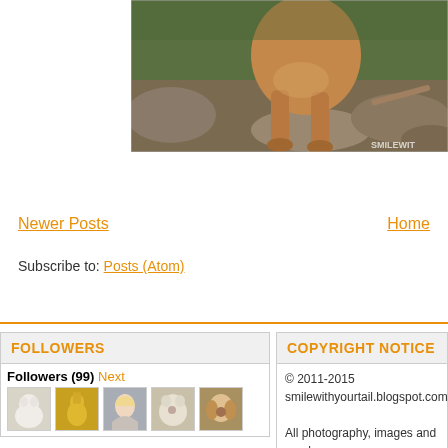[Figure (photo): Partial view of a brown/tan dog standing on rocky terrain with grass and large rocks in background. Watermark SMILEWIT visible in bottom right corner.]
Newer Posts
Home
Subscribe to: Posts (Atom)
FOLLOWERS
Followers (99) Next
[Figure (photo): Row of small follower avatar thumbnails: white dog, golden rabbit illustration, woman with blonde hair, fluffy light dog, Cavalier King Charles Spaniel]
COPYRIGHT NOTICE
© 2011-2015
smilewithyourtail.blogspot.com

All photography, images and words may